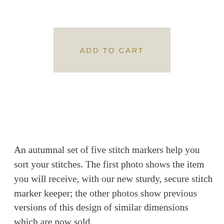[Figure (screenshot): A beige/tan rectangular button labeled 'ADD TO CART' in gold/olive colored uppercase sans-serif letters]
An autumnal set of five stitch markers help you sort your stitches. The first photo shows the item you will receive, with our new sturdy, secure stitch marker keeper; the other photos show previous versions of this design of similar dimensions which are now sold.